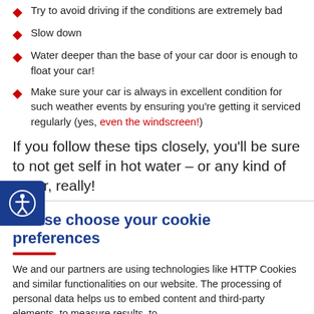Try to avoid driving if the conditions are extremely bad
Slow down
Water deeper than the base of your car door is enough to float your car!
Make sure your car is always in excellent condition for such weather events by ensuring you're getting it serviced regularly (yes, even the windscreen!)
If you follow these tips closely, you'll be sure to not get yourself in hot water – or any kind of water, really!
Please choose your cookie preferences
We and our partners are using technologies like HTTP Cookies and similar functionalities on our website. The processing of personal data helps us to embed content and third-party elements, to measure results, to